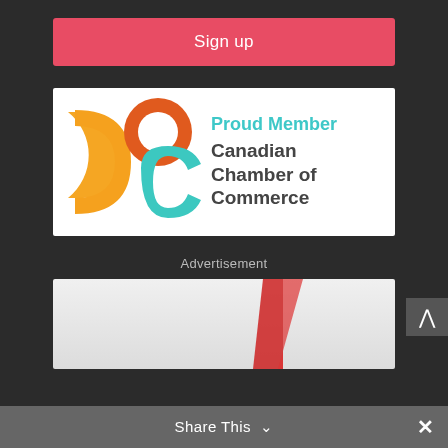Sign up
[Figure (logo): Canadian Chamber of Commerce proud member logo with orange and teal circular shapes on white background]
Advertisement
[Figure (photo): Advertisement image partial view with red shape visible]
Share This